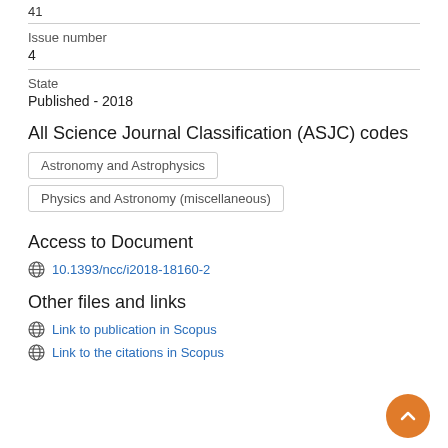41
Issue number
4
State
Published - 2018
All Science Journal Classification (ASJC) codes
Astronomy and Astrophysics
Physics and Astronomy (miscellaneous)
Access to Document
10.1393/ncc/i2018-18160-2
Other files and links
Link to publication in Scopus
Link to the citations in Scopus